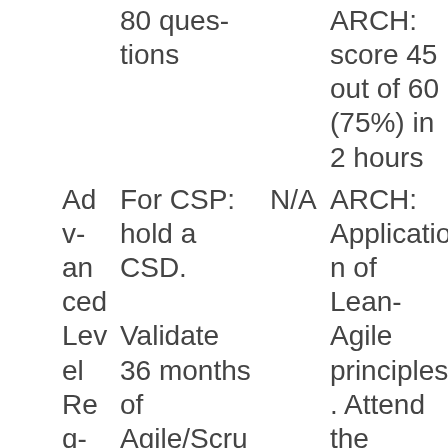| Advanced Level Requirements | Requirements | N/A | Exam/Content |
| --- | --- | --- | --- |
|  | 80 questions |  | ARCH: score 45 out of 60 (75%) in 2 hours |
| Advanced Level Requirements | For CSP: hold a CSD. Validate 36 months of Agile/Scrum work experience in any role. Gather 70 SEUs from the past three years. | N/A | ARCH: Application of Lean-Agile principles. Attend the SAFe® for Architects course. |